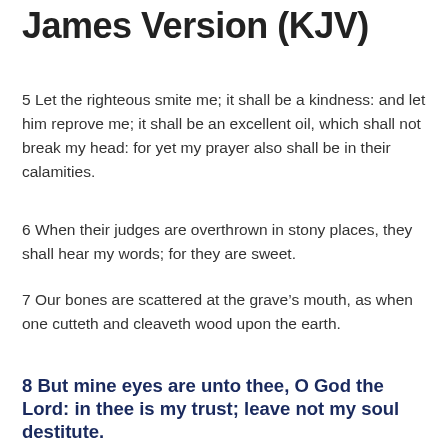James Version (KJV)
5 Let the righteous smite me; it shall be a kindness: and let him reprove me; it shall be an excellent oil, which shall not break my head: for yet my prayer also shall be in their calamities.
6 When their judges are overthrown in stony places, they shall hear my words; for they are sweet.
7 Our bones are scattered at the grave’s mouth, as when one cutteth and cleaveth wood upon the earth.
8 But mine eyes are unto thee, O God the Lord: in thee is my trust; leave not my soul destitute.